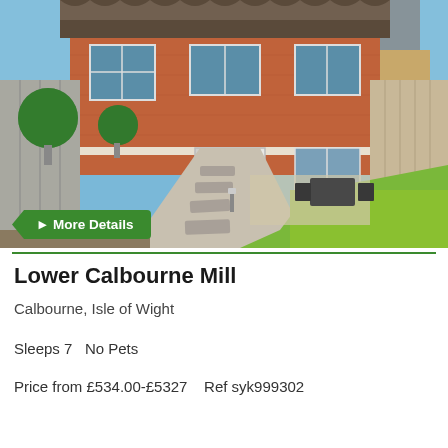[Figure (photo): Exterior photo of a red brick semi-detached house with a neat garden, stepping stone path, gravel border, green lawn, patio furniture, and grey wooden fences. Topiary ball bushes on the fence. Blue sky background.]
More Details
Lower Calbourne Mill
Calbourne, Isle of Wight
Sleeps 7   No Pets
Price from £534.00-£5327    Ref syk999302